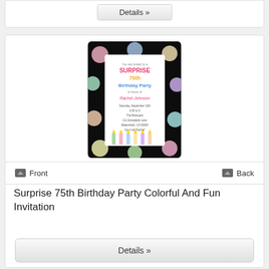[Figure (screenshot): Partial Details button from card above]
[Figure (photo): Surprise 75th Birthday Party Colorful And Fun Invitation card with black polka dot background, colorful candles, showing Front and Back navigation]
Front
Back
Surprise 75th Birthday Party Colorful And Fun Invitation
Details »
[Figure (photo): 75th Birthday Party floral invitation with green leaves and pink flowers, partial view]